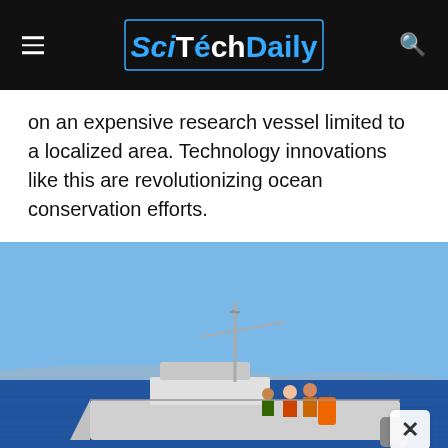SciTechDaily
on an expensive research vessel limited to a localized area. Technology innovations like this are revolutionizing ocean conservation efforts.
[Figure (photo): A research vessel on the ocean with people on deck, blue sky and distant hills in background. Workers are visible on the deck of a white boat on blue water.]